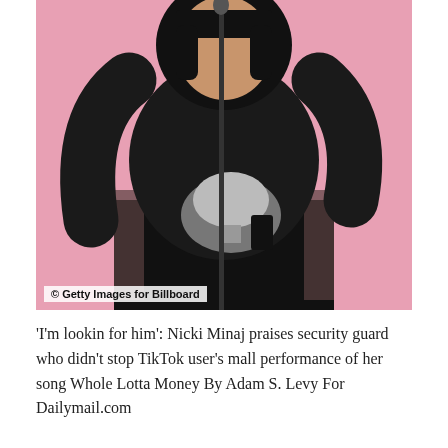[Figure (photo): A woman dressed in a black lace long-sleeve outfit holding a silver award trophy against a pink background. A microphone stand is visible in front of her. Photo credit: Getty Images for Billboard.]
'I'm lookin for him': Nicki Minaj praises security guard who didn't stop TikTok user's mall performance of her song Whole Lotta Money By Adam S. Levy For Dailymail.com